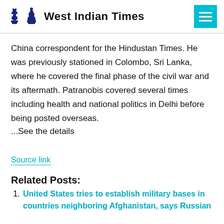West Indian Times
China correspondent for the Hindustan Times. He was previously stationed in Colombo, Sri Lanka, where he covered the final phase of the civil war and its aftermath. Patranobis covered several times including health and national politics in Delhi before being posted overseas.
...See the details
Source link
Related Posts:
United States tries to establish military bases in countries neighboring Afghanistan, says Russian